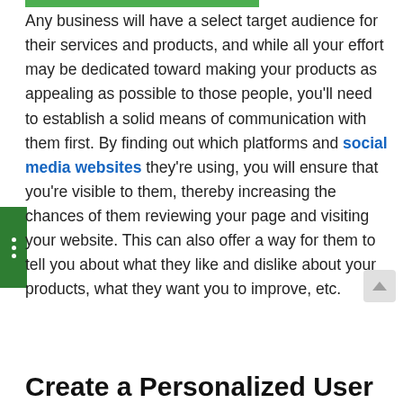Any business will have a select target audience for their services and products, and while all your effort may be dedicated toward making your products as appealing as possible to those people, you'll need to establish a solid means of communication with them first. By finding out which platforms and social media websites they're using, you will ensure that you're visible to them, thereby increasing the chances of them reviewing your page and visiting your website. This can also offer a way for them to tell you about what they like and dislike about your products, what they want you to improve, etc.
Create a Personalized User